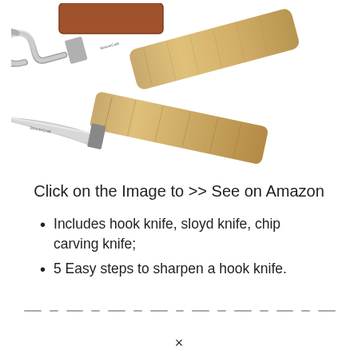[Figure (photo): Two wood carving knives with wooden handles and a brown leather strop. One is a hook/spoon knife and one is a straight sloyd/chip carving knife, arranged diagonally on a white background.]
Click on the Image to >> See on Amazon
Includes hook knife, sloyd knife, chip carving knife;
5 Easy steps to sharpen a hook knife.
— — — — — — — — — — — — —
×